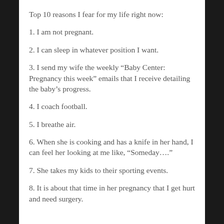Top 10 reasons I fear for my life right now:
1. I am not pregnant.
2. I can sleep in whatever position I want.
3. I send my wife the weekly “Baby Center: Pregnancy this week” emails that I receive detailing the baby’s progress.
4. I coach football.
5. I breathe air.
6. When she is cooking and has a knife in her hand, I can feel her looking at me like, “Someday….”
7. She takes my kids to their sporting events.
8. It is about that time in her pregnancy that I get hurt and need surgery.